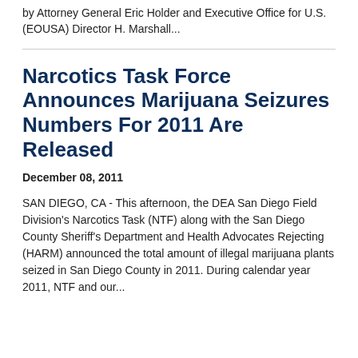by Attorney General Eric Holder and Executive Office for U.S. (EOUSA) Director H. Marshall...
Narcotics Task Force Announces Marijuana Seizures Numbers For 2011 Are Released
December 08, 2011
SAN DIEGO, CA - This afternoon, the DEA San Diego Field Division's Narcotics Task (NTF) along with the San Diego County Sheriff's Department and Health Advocates Rejecting (HARM) announced the total amount of illegal marijuana plants seized in San Diego County in 2011. During calendar year 2011, NTF and our...